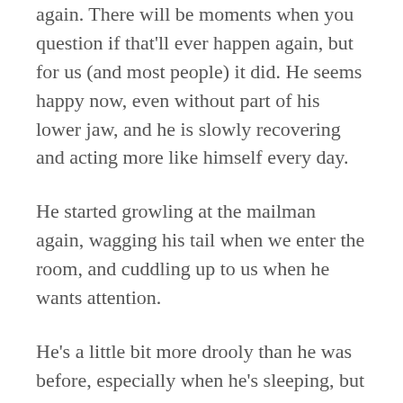again. There will be moments when you question if that'll ever happen again, but for us (and most people) it did. He seems happy now, even without part of his lower jaw, and he is slowly recovering and acting more like himself every day.
He started growling at the mailman again, wagging his tail when we enter the room, and cuddling up to us when he wants attention.
He's a little bit more drooly than he was before, especially when he's sleeping, but that is okay with us. It appears to be okay for him too, it's what dogs do after all isn't it?
The Histo Results